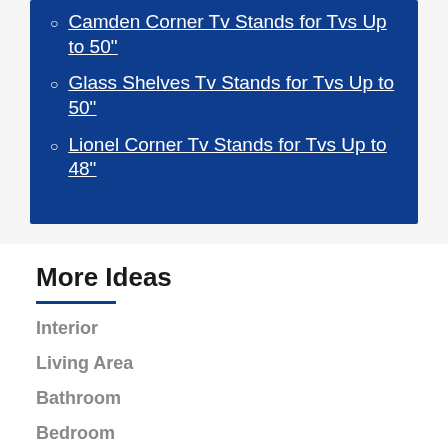Camden Corner Tv Stands for Tvs Up to 50"
Glass Shelves Tv Stands for Tvs Up to 50"
Lionel Corner Tv Stands for Tvs Up to 48"
More Ideas
Interior
Living Area
Bathroom
Bedroom
Kitchen
Dining Area